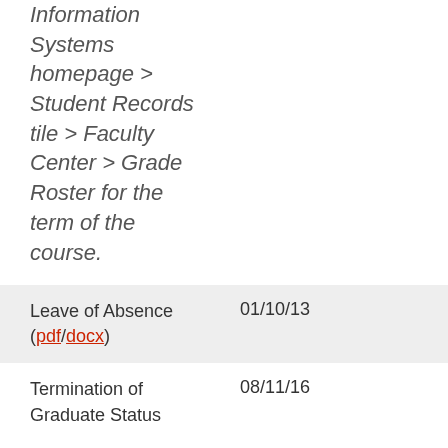Information Systems homepage > Student Records tile > Faculty Center > Grade Roster for the term of the course.
| Form | Effective Date |
| --- | --- |
| Leave of Absence (pdf/docx) | 01/10/13 |
| Termination of Graduate Status | 08/11/16 |